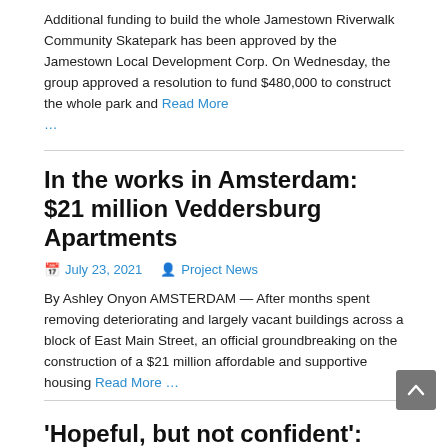Additional funding to build the whole Jamestown Riverwalk Community Skatepark has been approved by the Jamestown Local Development Corp. On Wednesday, the group approved a resolution to fund $480,000 to construct the whole park and Read More …
In the works in Amsterdam: $21 million Veddersburg Apartments
July 23, 2021   Project News
By Ashley Onyon AMSTERDAM — After months spent removing deteriorating and largely vacant buildings across a block of East Main Street, an official groundbreaking on the construction of a $21 million affordable and supportive housing Read More …
'Hopeful, but not confident': Great